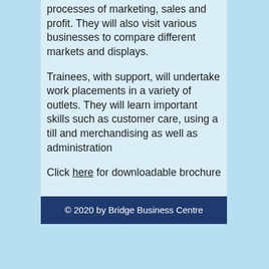processes of marketing, sales and profit. They will also visit various businesses to compare different markets and displays.
Trainees, with support, will undertake work placements in a variety of outlets. They will learn important skills such as customer care, using a till and merchandising as well as administration
Click here for downloadable brochure
© 2020 by Bridge Business Centre